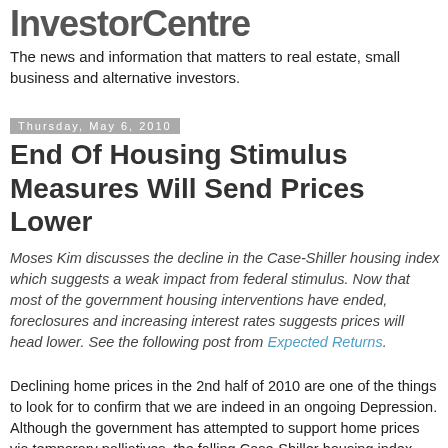InvestorCentre
The news and information that matters to real estate, small business and alternative investors.
Thursday, May 6, 2010
End Of Housing Stimulus Measures Will Send Prices Lower
Moses Kim discusses the decline in the Case-Shiller housing index which suggests a weak impact from federal stimulus. Now that most of the government housing interventions have ended, foreclosures and increasing interest rates suggests prices will head lower. See the following post from Expected Returns.
Declining home prices in the 2nd half of 2010 are one of the things to look for to confirm that we are indeed in an ongoing Depression. Although the government has attempted to support home prices via temporary palliatives, the falling Case-Shiller housing index proves that the government has failed to pump life into the housing market. Don't look now